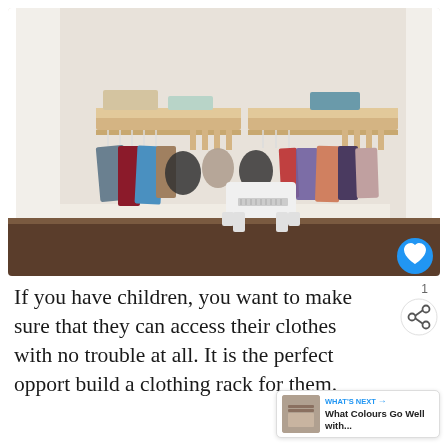[Figure (photo): A children's closet with two wooden wall-mounted shelves and hanging rods holding various colorful children's clothes, backpacks, and a small white step stool on a dark wood floor.]
If you have children, you want to make sure that they can access their clothes with no trouble at all. It is the perfect opport- build a clothing rack for them.